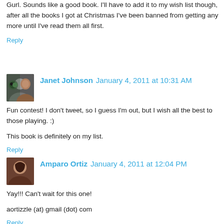Gurl. Sounds like a good book. I'll have to add it to my wish list though, after all the books I got at Christmas I've been banned from getting any more until I've read them all first.
Reply
Janet Johnson  January 4, 2011 at 10:31 AM
Fun contest! I don't tweet, so I guess I'm out, but I wish all the best to those playing. :)

This book is definitely on my list.
Reply
Amparo Ortiz  January 4, 2011 at 12:04 PM
Yay!!! Can't wait for this one!

aortizzle (at) gmail (dot) com
Reply